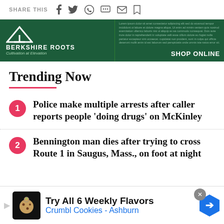SHARE THIS
[Figure (screenshot): Berkshire Roots cannabis dispensary advertisement banner: dark green/blue background with triangle logo, 'BERKSHIRE ROOTS', 'Cultivation at Elevation', and 'SHOP ONLINE' text]
Trending Now
1. Police make multiple arrests after caller reports people 'doing drugs' on McKinley
2. Bennington man dies after trying to cross Route 1 in Saugus, Mass., on foot at night
[Figure (screenshot): Bottom advertisement for Crumbl Cookies - Ashburn: black icon, 'Try All 6 Weekly Flavors' in black, 'Crumbl Cookies - Ashburn' in blue, with navigation arrow icon]